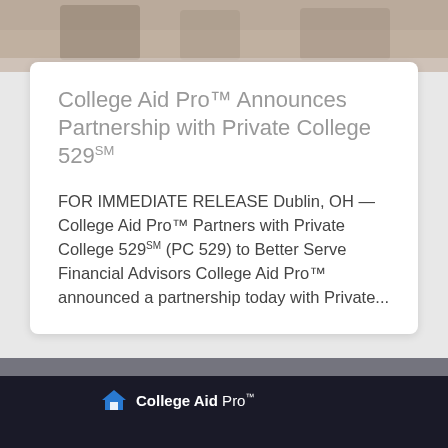[Figure (photo): Top portion of a photo showing people seated, cropped at the bottom edge]
College Aid Pro™ Announces Partnership with Private College 529℠
FOR IMMEDIATE RELEASE Dublin, OH — College Aid Pro™ Partners with Private College 529℠ (PC 529) to Better Serve Financial Advisors College Aid Pro™ announced a partnership today with Private...
[Figure (photo): Bottom photo showing a dark surface with College Aid Pro logo (house icon) and text 'College Aid Pro™']